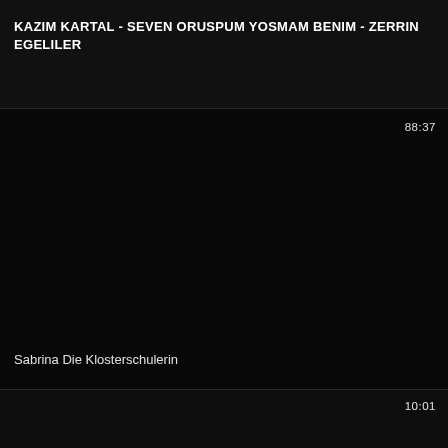KAZIM KARTAL - SEVEN ORUSPUM YOSMAM BENIM - ZERRIN EGELILER
[Figure (screenshot): Dark video thumbnail with duration 88:37, showing black screen with subtitle text 'Sabrina Die Klosterschulerin']
[Figure (screenshot): Dark video thumbnail with duration 10:01, showing mostly black screen]